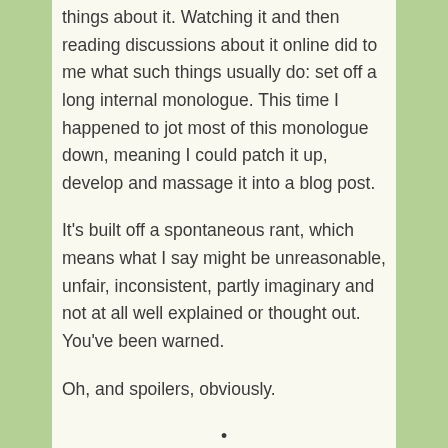things about it. Watching it and then reading discussions about it online did to me what such things usually do: set off a long internal monologue. This time I happened to jot most of this monologue down, meaning I could patch it up, develop and massage it into a blog post.
It's built off a spontaneous rant, which means what I say might be unreasonable, unfair, inconsistent, partly imaginary and not at all well explained or thought out. You've been warned.
Oh, and spoilers, obviously.
•
Arrival starts with some mysterious spacecraft arriving on Earth. The aliens do nothing, content to have their ships